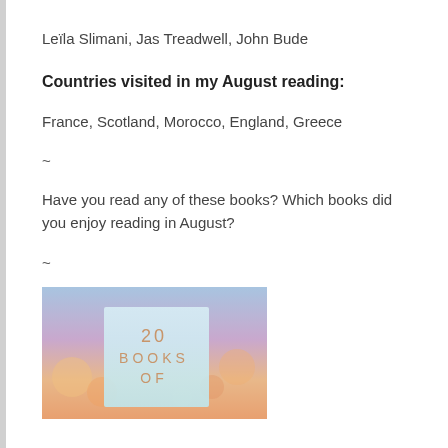Leïla Slimani, Jas Treadwell, John Bude
Countries visited in my August reading:
France, Scotland, Morocco, England, Greece
~
Have you read any of these books? Which books did you enjoy reading in August?
~
[Figure (photo): Book cover image showing '20 Books of...' with a pastel sunset sky background in light blue, pink and orange tones]